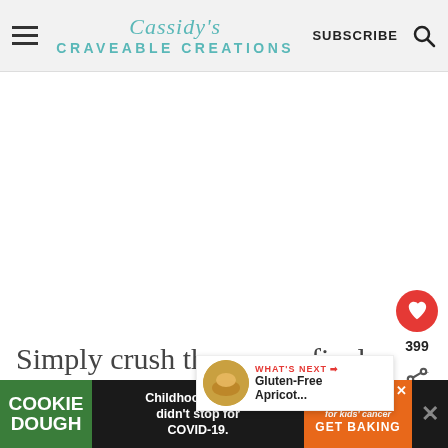Cassidy's Craveable Creations — SUBSCRIBE
[Figure (screenshot): White blank content area of webpage]
399
Simply crush them very finely in a food processor and add them to a large, shallow bowl along with some
[Figure (other): What's Next popup showing Gluten-Free Apricot... with a circular food photo]
[Figure (other): Ad banner: Cookie Dough — Childhood cancer didn't stop for COVID-19. — cookies for kids cancer GET BAKING]